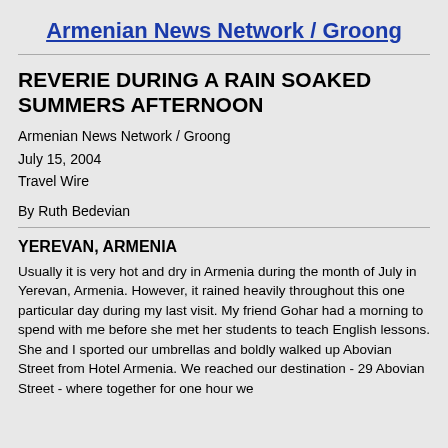Armenian News Network / Groong
REVERIE DURING A RAIN SOAKED SUMMERS AFTERNOON
Armenian News Network / Groong
July 15, 2004
Travel Wire
By Ruth Bedevian
YEREVAN, ARMENIA
Usually it is very hot and dry in Armenia during the month of July in Yerevan, Armenia. However, it rained heavily throughout this one particular day during my last visit. My friend Gohar had a morning to spend with me before she met her students to teach English lessons. She and I sported our umbrellas and boldly walked up Abovian Street from Hotel Armenia. We reached our destination - 29 Abovian Street - where together for one hour we